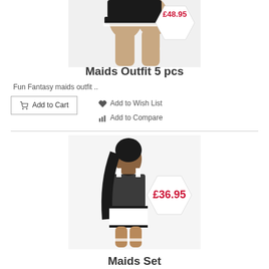[Figure (photo): Partial photo of a model wearing a maids outfit (lower body visible), cropped at top]
Maids Outfit 5 pcs
Fun Fantasy maids outfit ..
Add to Cart | Add to Wish List | Add to Compare
[Figure (photo): Photo of a model wearing a black lace and white Maids Set costume with £36.95 price badge]
Maids Set